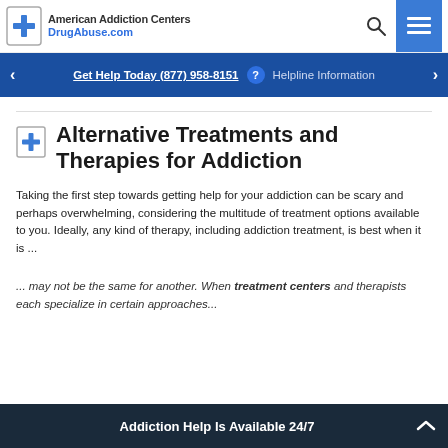American Addiction Centers DrugAbuse.com
Get Help Today (877) 958-8151  Helpline Information
Alternative Treatments and Therapies for Addiction
Taking the first step towards getting help for your addiction can be scary and perhaps overwhelming, considering the multitude of treatment options available to you. Ideally, any kind of therapy, including addiction treatment, is best when it is ...
... may not be the same for another. When treatment centers and therapists each specialize in certain approaches...
Addiction Help Is Available 24/7